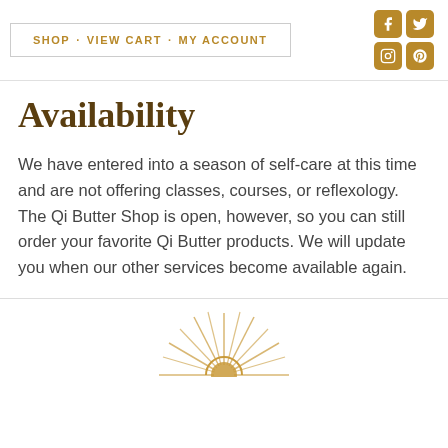SHOP · VIEW CART · MY ACCOUNT
Availability
We have entered into a season of self-care at this time and are not offering classes, courses, or reflexology. The Qi Butter Shop is open, however, so you can still order your favorite Qi Butter products. We will update you when our other services become available again.
[Figure (logo): Qi Butter sun logo — a rising sun with radiating lines and a circular orb, rendered in golden/tan tones]